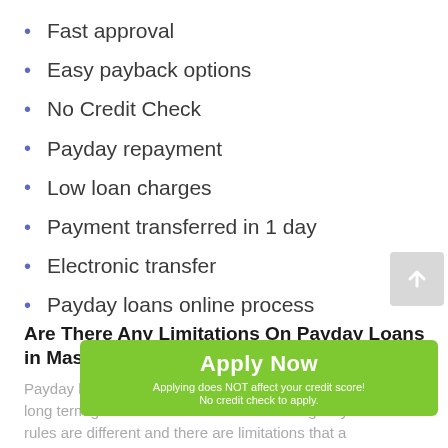Fast approval
Easy payback options
No Credit Check
Payday repayment
Low loan charges
Payment transferred in 1 day
Electronic transfer
Payday loans online process
Are There Any Limitations On Payday Loans in Massachusetts?
Payday loans are short-term loans. They are not similar to the long term generic loans. It is used for emergency funds. The rules are different and there are limitations that a